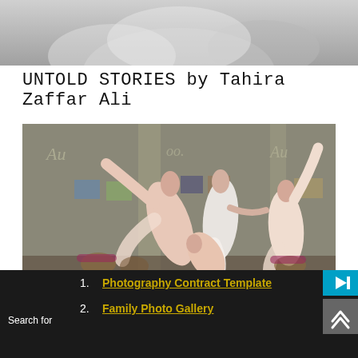[Figure (photo): Partial black and white photo cropped at top of page, appears to show hands or figures]
UNTOLD STORIES by Tahira Zaffar Ali
[Figure (photo): Three ballet dancers in light pink/white costumes performing dramatic poses in what appears to be an art gallery or winery with concrete columns and photographs on the walls]
Danza in Cantina
[Figure (photo): Partial image visible at bottom, appears to be another photo partially cropped]
Search for
1. Photography Contract Template
2. Family Photo Gallery